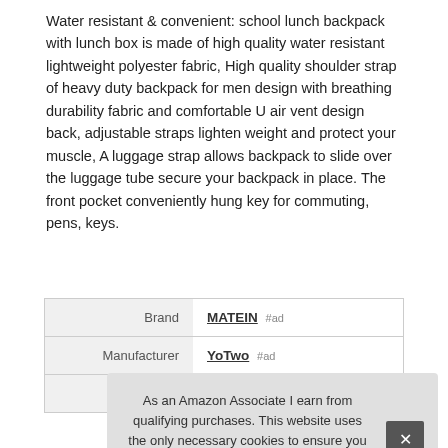Water resistant & convenient: school lunch backpack with lunch box is made of high quality water resistant lightweight polyester fabric, High quality shoulder strap of heavy duty backpack for men design with breathing durability fabric and comfortable U air vent design back, adjustable straps lighten weight and protect your muscle, A luggage strap allows backpack to slide over the luggage tube secure your backpack in place. The front pocket conveniently hung key for commuting, pens, keys.
|  |  |
| --- | --- |
| Brand | MATEIN #ad |
| Manufacturer | YoTwo #ad |
| P |  |
As an Amazon Associate I earn from qualifying purchases. This website uses the only necessary cookies to ensure you get the best experience on our website. More information